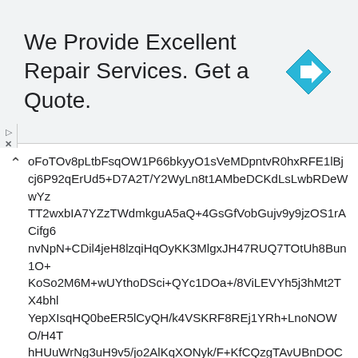[Figure (infographic): Advertisement banner with text 'We Provide Excellent Repair Services. Get a Quote.' and a blue diamond road-sign icon on the right.]
oFoTOv8pLtbFsqOW1P66bkyyO1sVeMDpntvR0hxRFE1lBjcj6P92qErUd5+D7A2T/Y2WyLn8t1AMbeDCKdLsLwbRDeWwYzTT2wxbIA7YZzTWdmkguA5aQ+4GsGfVobGujv9y9jzOS1rACifg6nvNpN+CDil4jeH8lzqiHqOyKK3MlgxJH47RUQ7TOtUh8Bun1O+KoSo2M6M+wUYthoDSci+QYc1DOa+/8ViLEVYh5j3hMt2TX4bhlYepXIsqHQ0beER5lCyQH/k4VSKRF8REj1YRh+LnoNOWO/H4ThHUuWrNg3uH9v5/jo2AlKqXONyk/F+KfCQzgTAvUBnDOCF0xgCAWbHnKIshTB5Tj/vRBwwVEu5O5ejO8rKLkWfdj/8VjSyVjY6bj6dKztOcbZi6FwDapi7xHQUc2NjsbnpZvK00RhLOVz+PhWfNGw1r5VC/k13ncwmyiDYCUphj8prD1JH8QF92UsGZ6g7NB5zm38hKMVOH+Jx5Zp/qIzit6AH9bSfAsRzh0jNX1FGPPqcWMfGIH/2hfIuTwkn6tvBSkBAp4lixaBv4HPMdqirnUEbMTXsJwX+ABNyhsg7J8B0tyspGvUGxYIGlBSdkt1Rq/FTB/CcIvGoc3KujreX+MdWZ9enISOzo1SKNeWOjuuxvzPx0q+BRm70jhzO3jSCKEhWd2u1kF2USmJ3wmmc23wI2PV6o/zXA/xlro6u6gzrPhKUbM6+7eSgotZUKVwX3FCXoF1P8TZgq7eXhodHfZ+HHZ8Bcnw7VbLD8G8nO8aWak6NHp+qSNqWBCwrus+I1CHAhmh2ef/PJTjPJ5HkrgfM12B9fwALvlQjvH